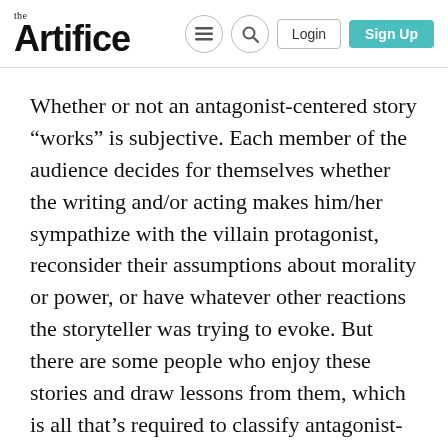the Artifice | Login | Sign Up
Whether or not an antagonist-centered story “works” is subjective. Each member of the audience decides for themselves whether the writing and/or acting makes him/her sympathize with the villain protagonist, reconsider their assumptions about morality or power, or have whatever other reactions the storyteller was trying to evoke. But there are some people who enjoy these stories and draw lessons from them, which is all that’s required to classify antagonist-centered stories as a viable sub-genre. The more important question is whether or not storytellers should tell more